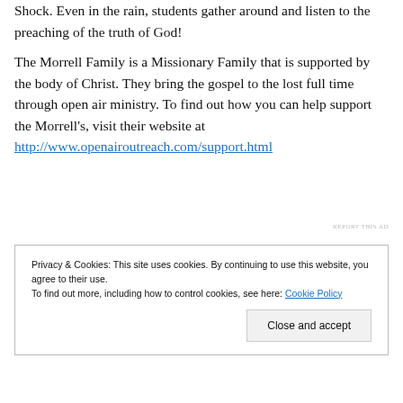Shock. Even in the rain, students gather around and listen to the preaching of the truth of God!
The Morrell Family is a Missionary Family that is supported by the body of Christ. They bring the gospel to the lost full time through open air ministry. To find out how you can help support the Morrell's, visit their website at http://www.openairoutreach.com/support.html
REPORT THIS AD
Privacy & Cookies: This site uses cookies. By continuing to use this website, you agree to their use. To find out more, including how to control cookies, see here: Cookie Policy
Close and accept